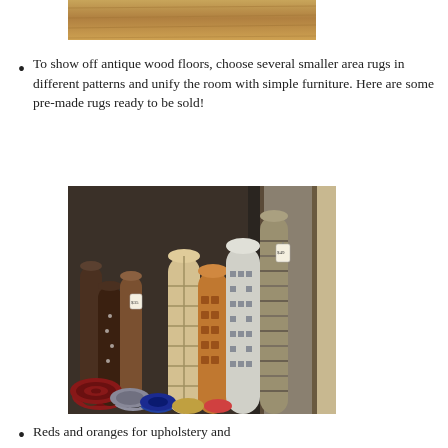[Figure (photo): Partial top photo showing what appears to be a wooden surface or floor, cropped at the top of the page]
To show off antique wood floors, choose several smaller area rugs in different patterns and unify the room with simple furniture. Here are some pre-made rugs ready to be sold!
[Figure (photo): Photograph of many rolled-up rugs and carpets in various patterns and colors standing upright in a store or warehouse, including geometric, floral, and solid patterns]
Reds and oranges for upholstery and ... LOVE